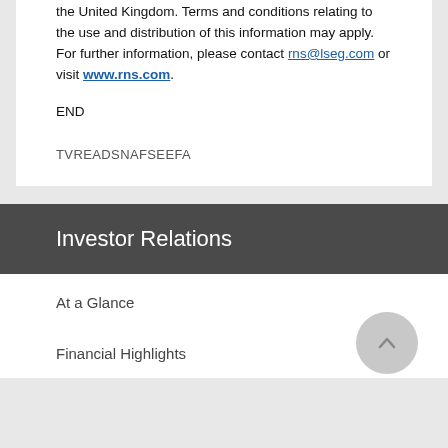the United Kingdom. Terms and conditions relating to the use and distribution of this information may apply. For further information, please contact rns@lseg.com or visit www.rns.com.
END
TVREADSNAFSEEFA
Investor Relations
At a Glance
Financial Highlights